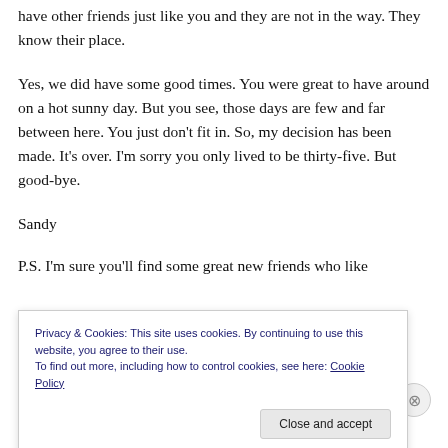have other friends just like you and they are not in the way. They know their place.
Yes, we did have some good times. You were great to have around on a hot sunny day. But you see, those days are few and far between here. You just don’t fit in. So, my decision has been made. It’s over. I’m sorry you only lived to be thirty-five. But good-bye.
Sandy
P.S. I’m sure you’ll find some great new friends who like
Privacy & Cookies: This site uses cookies. By continuing to use this website, you agree to their use.
To find out more, including how to control cookies, see here: Cookie Policy
Close and accept